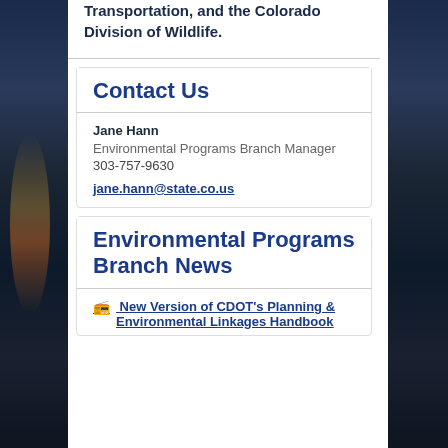Transportation, and the Colorado Division of Wildlife.
Contact Us
Jane Hann
Environmental Programs Branch Manager
303-757-9630
jane.hann@state.co.us
Environmental Programs Branch News
New Version of CDOT's Planning & Environmental Linkages Handbook